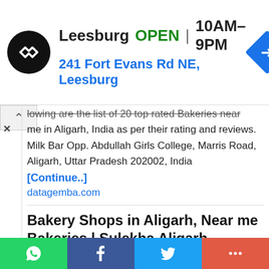[Figure (screenshot): Ad banner showing Leesburg store: logo (dark circle with arrows icon), text 'Leesburg OPEN | 10AM–9PM', address '241 Fort Evans Rd NE, Leesburg', blue navigation arrow icon on right]
lowing are the list of 20 top rated Bakeries near me in Aligarh, India as per their rating and reviews. Milk Bar Opp. Abdullah Girls College, Marris Road, Aligarh, Uttar Pradesh 202002, India
[Continue..]
datagemba.com
Bakery Shops in Aligarh, Near me Bakeries | Sulekha Aligarh
Bakeries in Aligarh – Find the best bakery shops in Aligarh for birthday cookie, wedding cake and get custom, italian cupcake bakery products prices, local baker's stores contact addresses